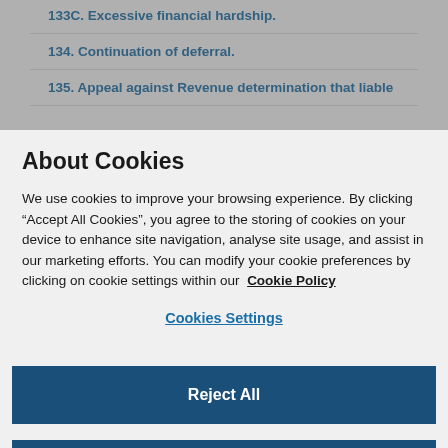133C. Excessive financial hardship.
134. Continuation of deferral.
135. Appeal against Revenue determination that liable
About Cookies
We use cookies to improve your browsing experience. By clicking “Accept All Cookies”, you agree to the storing of cookies on your device to enhance site navigation, analyse site usage, and assist in our marketing efforts. You can modify your cookie preferences by clicking on cookie settings within our  Cookie Policy
Cookies Settings
Reject All
Accept All Cookies